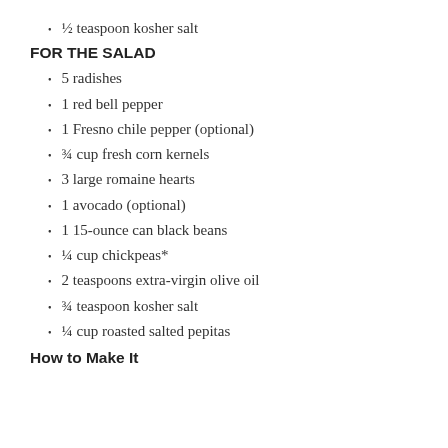½ teaspoon kosher salt
FOR THE SALAD
5 radishes
1 red bell pepper
1 Fresno chile pepper (optional)
¾ cup fresh corn kernels
3 large romaine hearts
1 avocado (optional)
1 15-ounce can black beans
¼ cup chickpeas*
2 teaspoons extra-virgin olive oil
¾ teaspoon kosher salt
¼ cup roasted salted pepitas
How to Make It